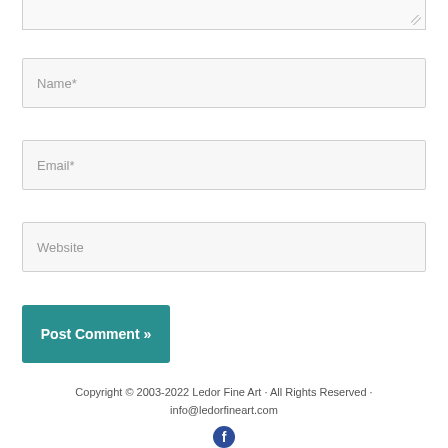[Figure (screenshot): Partial textarea stub at top of page showing bottom edge with resize handle]
Name*
Email*
Website
Post Comment »
Copyright © 2003-2022 Ledor Fine Art · All Rights Reserved · info@ledorfineart.com